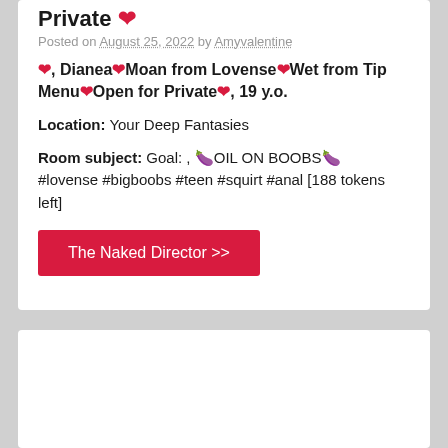Private ❤
Posted on August 25, 2022 by Amyvalentine
❤, Dianea❤Moan from Lovense❤Wet from Tip Menu❤Open for Private❤, 19 y.o.
Location: Your Deep Fantasies
Room subject: Goal: , 🍆OIL ON BOOBS🍆 #lovense #bigboobs #teen #squirt #anal [188 tokens left]
The Naked Director >>
[Figure (photo): Gray placeholder image at the bottom of the page]